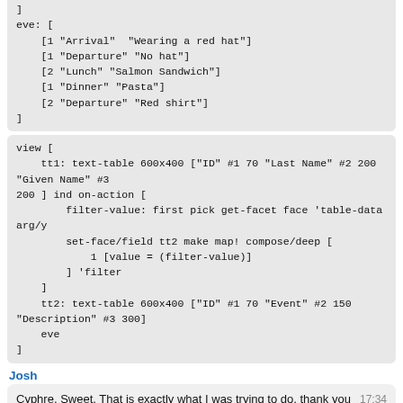]
eve: [
    [1 "Arrival"  "Wearing a red hat"]
    [1 "Departure" "No hat"]
    [2 "Lunch" "Salmon Sandwich"]
    [1 "Dinner" "Pasta"]
    [2 "Departure" "Red shirt"]
]
view [
    tt1: text-table 600x400 ["ID" #1 70 "Last Name" #2 200 "Given Name" #3 200 ] ind on-action [
        filter-value: first pick get-facet face 'table-data arg/y
        set-face/field tt2 make map! compose/deep [
            1 [value = (filter-value)]
        ] 'filter
    ]
    tt2: text-table 600x400 ["ID" #1 70 "Event" #2 150 "Description" #3 300]
    eve
]
Josh
Cyphre,  Sweet.  That is exactly what I was trying to do.  thank you so much!
17:34
Josh
Bug or expected behavior?
18:51
REBOL []
load-gui